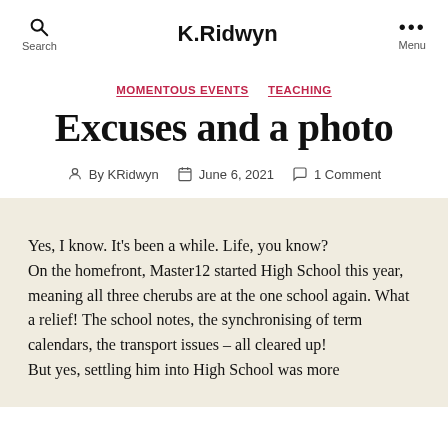K.Ridwyn
MOMENTOUS EVENTS   TEACHING
Excuses and a photo
By KRidwyn   June 6, 2021   1 Comment
Yes, I know. It’s been a while. Life, you know? On the homefront, Master12 started High School this year, meaning all three cherubs are at the one school again. What a relief! The school notes, the synchronising of term calendars, the transport issues – all cleared up! But yes, settling him into High School was more…